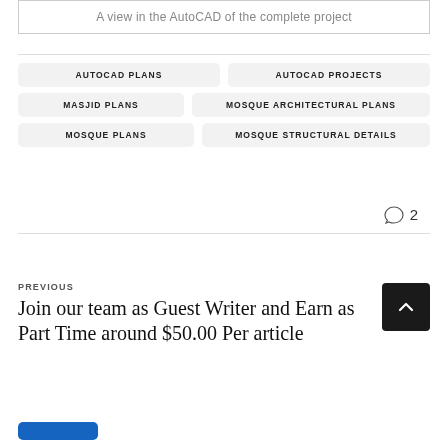A view in the AutoCAD of the complete project
AUTOCAD PLANS
AUTOCAD PROJECTS
MASJID PLANS
MOSQUE ARCHITECTURAL PLANS
MOSQUE PLANS
MOSQUE STRUCTURAL DETAILS
2
PREVIOUS
Join our team as Guest Writer and Earn as Part Time around $50.00 Per article